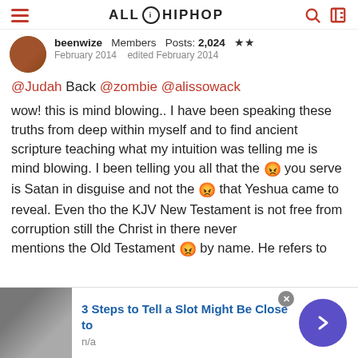ALL HIP HOP
beenwize   Members   Posts: 2,024  ★★
February 2014   edited February 2014
@Judah Back @zombie @alissowack
wow! this is mind blowing.. I have been speaking these truths from deep within myself and to find ancient scripture teaching what my intuition was telling me is mind blowing. I been telling you all that the 😡 you serve is Satan in disguise and not the 😡 that Yeshua came to reveal. Even tho the KJV New Testament is not free from corruption still the Christ in there never mentions the Old Testament 😡 by name. He refers to
3 Steps to Tell a Slot Might Be Close to
n/a